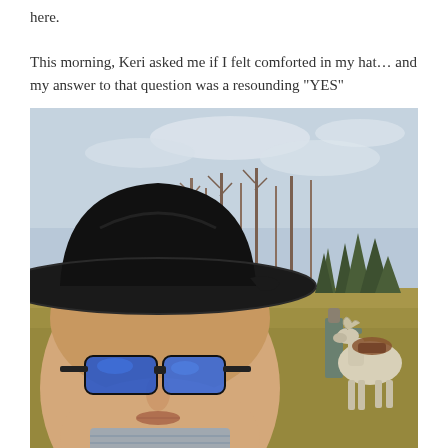here.

This morning, Keri asked me if I felt comforted in my hat… and my answer to that question was a resounding “YES”
[Figure (photo): Selfie of a man wearing a black cowboy hat and blue mirrored sunglasses. In the background, another person stands beside a white horse with a saddle, in a field with bare trees and evergreen shrubs under a cloudy sky.]